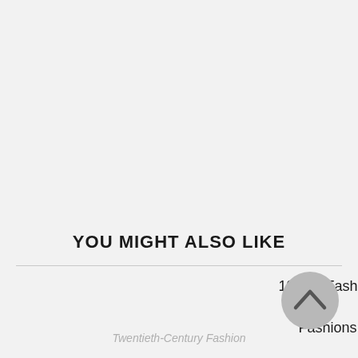YOU MIGHT ALSO LIKE
1910s: Fashion
Fashions
Twentieth-Century Fashion